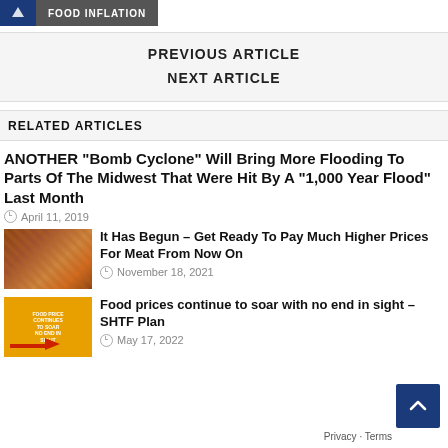FOOD INFLATION
PREVIOUS ARTICLE
NEXT ARTICLE
RELATED ARTICLES
ANOTHER “Bomb Cyclone” Will Bring More Flooding To Parts Of The Midwest That Were Hit By A “1,000 Year Flood” Last Month
April 11, 2019
[Figure (photo): Thumbnail image of meat products]
It Has Begun – Get Ready To Pay Much Higher Prices For Meat From Now On
November 18, 2021
[Figure (photo): Thumbnail image with food price graphic on orange background]
Food prices continue to soar with no end in sight – SHTF Plan
May 17, 2022